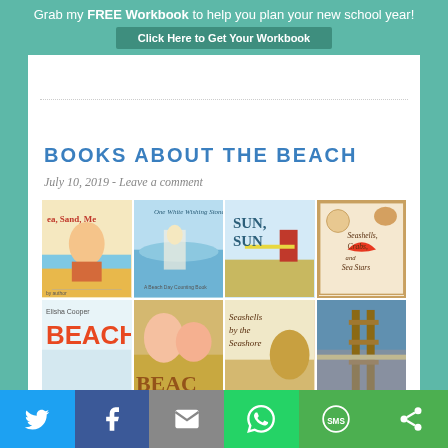Grab my FREE Workbook to help you plan your new school year! Click Here to Get Your Workbook
BOOKS ABOUT THE BEACH
July 10, 2019 - Leave a comment
[Figure (photo): Grid of 8 children's book covers about the beach: Sea, Sand, Me; One White Wishing Stone; Sun, Sun; Seashells, Crabs, and Sea Stars; Beach (Elisha Cooper); BEAC (partial title); Seashells by the Seashore; Beach boardwalk photo]
Social share bar: Twitter, Facebook, Email, WhatsApp, SMS, More